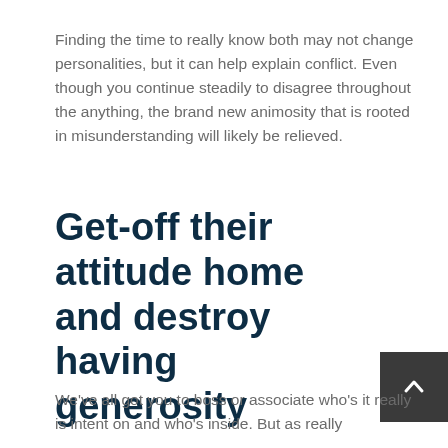Finding the time to really know both may not change personalities, but it can help explain conflict. Even though you continue steadily to disagree throughout the anything, the brand new animosity that is rooted in misunderstanding will likely be relieved.
Get-off their attitude home and destroy having generosity
We've all got you to boss or associate who's it really is intent on and who's inside. But as really...